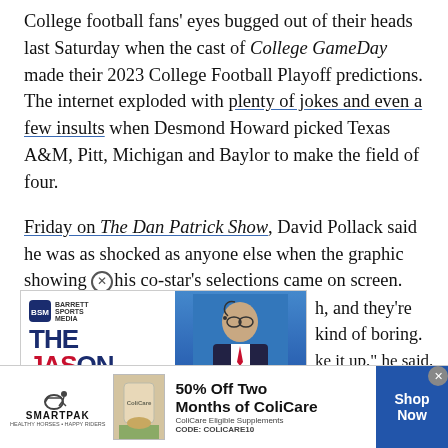College football fans' eyes bugged out of their heads last Saturday when the cast of College GameDay made their 2023 College Football Playoff predictions. The internet exploded with plenty of jokes and even a few insults when Desmond Howard picked Texas A&M, Pitt, Michigan and Baylor to make the field of four.
Friday on The Dan Patrick Show, David Pollack said he was as shocked as anyone else when the graphic showing his co-star's selections came on screen.
[Figure (photo): Advertisement for The Jason Barrett Podcast featuring Paul Finebaum, with text 'PAUL FINEBAUM KNOWS THE POWER']
h, and they're kind of boring.
ke it up," he said. "He shook it
[Figure (infographic): SmartPak advertisement: 50% Off Two Months of ColiCare. ColiCare Eligible Supplements. CODE: COLICARE10. Shop Now button.]